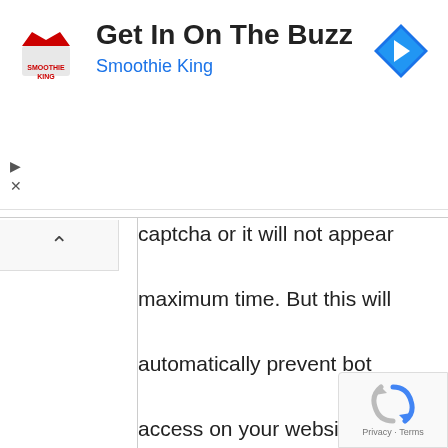[Figure (infographic): Advertisement banner for Smoothie King with logo, title 'Get In On The Buzz', subtitle 'Smoothie King', navigation arrow icon, play and close buttons]
captcha or it will not appear maximum time. But this will automatically prevent bot access on your website.
Moderate: This version is ensure more security from spam attack on your website. If you use moderate security on your website, it will display more captcha than the easy version
[Figure (logo): Google reCAPTCHA badge with Privacy and Terms links]